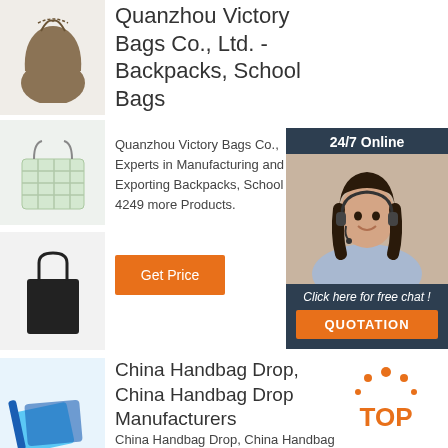[Figure (photo): Brown drawstring bag thumbnail]
[Figure (photo): Green plaid tote bag thumbnail]
[Figure (photo): Black tote bag thumbnail]
[Figure (photo): Blue and white canvas bag thumbnail]
[Figure (photo): Black handbag thumbnail]
Quanzhou Victory Bags Co., Ltd. - Backpacks, School Bags
Quanzhou Victory Bags Co., Experts in Manufacturing and Exporting Backpacks, School and 4249 more Products.
[Figure (infographic): 24/7 Online chat widget with woman wearing headset, 'Click here for free chat!' text, and QUOTATION button]
Get Price
China Handbag Drop, China Handbag Drop Manufacturers
China Handbag Drop, China Handbag